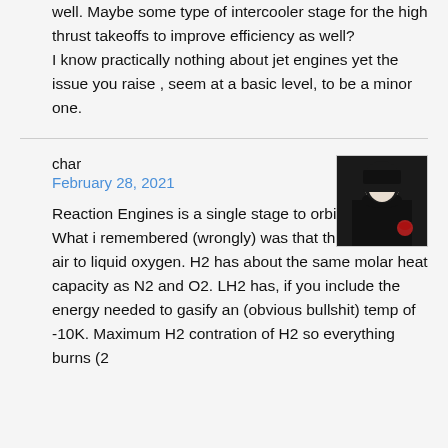well. Maybe some type of intercooler stage for the high thrust takeoffs to improve efficiency as well?
I know practically nothing about jet engines yet the issue you raise , seem at a basic level, to be a minor one.
char
February 28, 2021
[Figure (photo): Avatar photo of user 'char' showing a dark-clad figure against a light background]
Reaction Engines is a single stage to orbit design. What i remembered (wrongly) was that they cooled the air to liquid oxygen. H2 has about the same molar heat capacity as N2 and O2. LH2 has, if you include the energy needed to gasify an (obvious bullshit) temp of -10K. Maximum H2 contration of H2 so everything burns (2